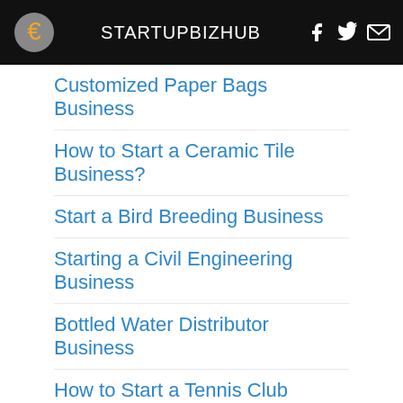STARTUPBIZHUB
Customized Paper Bags Business
How to Start a Ceramic Tile Business?
Start a Bird Breeding Business
Starting a Civil Engineering Business
Bottled Water Distributor Business
How to Start a Tennis Club Business
Starting Diesel Business
How to Start Timeshare Business
Join Our Newsletter
email address
Sign Up
Copyright © 2...om. All Rights